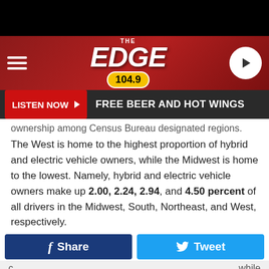[Figure (screenshot): Top black bar and radio station header with The Edge 104.9 logo on red background, hamburger menu on left, play button on right]
LISTEN NOW ▶  FREE BEER AND HOT WINGS
ownership among Census Bureau designated regions. The West is home to the highest proportion of hybrid and electric vehicle owners, while the Midwest is home to the lowest. Namely, hybrid and electric vehicle owners make up 2.00, 2.24, 2.94, and 4.50 percent of all drivers in the Midwest, South, Northeast, and West, respectively.
Red state, blue state: Which has more green cars? In keeping with their residents' reputation for progressive political views and lifestyle habits, blue states are
[Figure (screenshot): Facebook Share button (dark blue) and Twitter Tweet button (light blue)]
c [blocked] , while d [blocked] these f